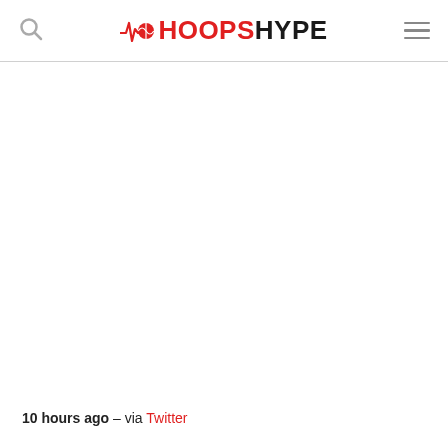HoopsHype
10 hours ago – via Twitter